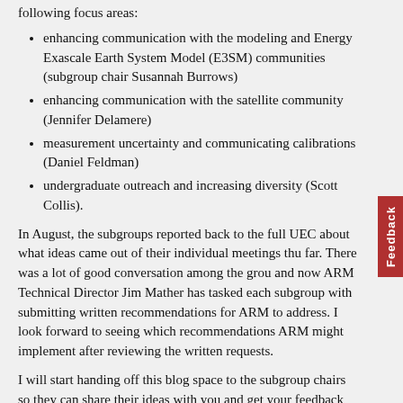following focus areas:
enhancing communication with the modeling and Energy Exascale Earth System Model (E3SM) communities (subgroup chair Susannah Burrows)
enhancing communication with the satellite community (Jennifer Delamere)
measurement uncertainty and communicating calibrations (Daniel Feldman)
undergraduate outreach and increasing diversity (Scott Collis).
In August, the subgroups reported back to the full UEC about what ideas came out of their individual meetings thus far. There was a lot of good conversation among the group, and now ARM Technical Director Jim Mather has tasked each subgroup with submitting written recommendations for ARM to address. I look forward to seeing which recommendations ARM might implement after reviewing the written requests.
I will start handing off this blog space to the subgroup chairs so they can share their ideas with you and get your feedback on how ARM can make progress in the four focus areas.